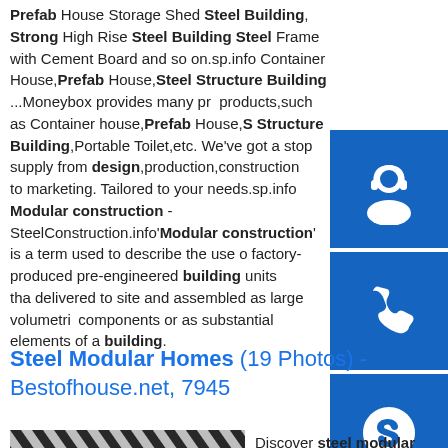Prefab House Storage Shed Steel Building, Strong High Rise Steel Building Steel Frame with Cement Board and so on.sp.info Container House, Prefab House, Steel Structure Building ...Moneybox provides many products, such as Container house, Prefab House, Steel Structure Building, Portable Toilet, etc. We've got a stop supply from design, production, construction to marketing. Tailored to your needs.sp.info Modular construction - SteelConstruction.info 'Modular construction' is a term used to describe the use of factory-produced pre-engineered building units that delivered to site and assembled as large volumetric components or as substantial elements of a building.
[Figure (other): Three blue square icons on the right sidebar: headset/support icon, phone icon, and Skype icon]
Steel Modular Homes (19 Photos) - Bestofhouse.net, 7945
[Figure (photo): Close-up photo of corrugated metal/steel sheets with diagonal lines pattern in black and white]
Discover steel modular homes design and ideas inspiration from a variety of